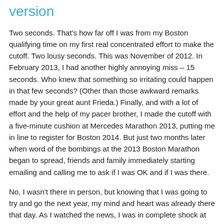version
Two seconds. That's how far off I was from my Boston qualifying time on my first real concentrated effort to make the cutoff. Two lousy seconds. This was November of 2012. In February 2013, I had another highly annoying miss – 15 seconds. Who knew that something so irritating could happen in that few seconds? (Other than those awkward remarks made by your great aunt Frieda.) Finally, and with a lot of effort and the help of my pacer brother, I made the cutoff with a five-minute cushion at Mercedes Marathon 2013, putting me in line to register for Boston 2014. But just two months later when word of the bombings at the 2013 Boston Marathon began to spread, friends and family immediately starting emailing and calling me to ask if I was OK and if I was there.
No, I wasn't there in person, but knowing that I was going to try and go the next year, my mind and heart was already there that day. As I watched the news, I was in complete shock at what was happening, and I, like many of you, thought about what if that had been me. What if I was